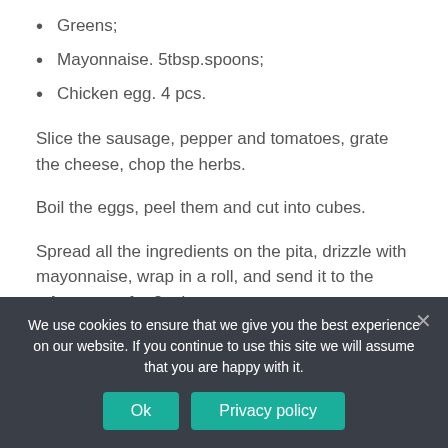Greens;
Mayonnaise. 5tbsp.spoons;
Chicken egg. 4 pcs.
Slice the sausage, pepper and tomatoes, grate the cheese, chop the herbs.
Boil the eggs, peel them and cut into cubes.
Spread all the ingredients on the pita, drizzle with mayonnaise, wrap in a roll, and send it to the microwave for 3 minutes.
Quick breakfasts. Video
We use cookies to ensure that we give you the best experience on our website. If you continue to use this site we will assume that you are happy with it.